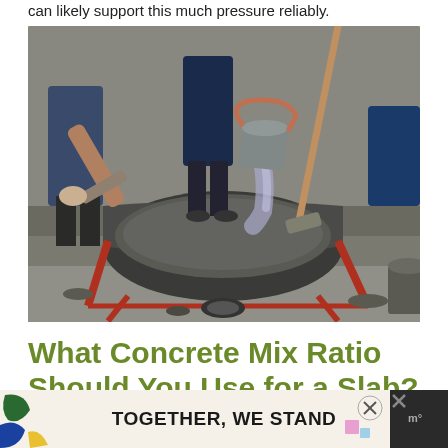can likely support this much pressure reliably.
[Figure (photo): Workers mixing concrete with shovels into a red wheelbarrow at a construction site]
What Concrete Mix Ratio Should You Use for a Slab?
[Figure (other): Advertisement banner: TOGETHER, WE STAND with colorful decorative shapes on sides]